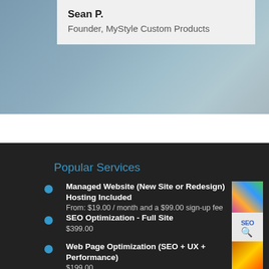Sean P.
Founder, MyStyle Custom Products
Popular Services
Managed Website (New Site or Redesign) Hosting Included
From: $19.00 / month and a $99.00 sign-up fee
SEO Optimization - Full Site
$399.00
Web Page Optimization (SEO + UX + Performance)
$199.00